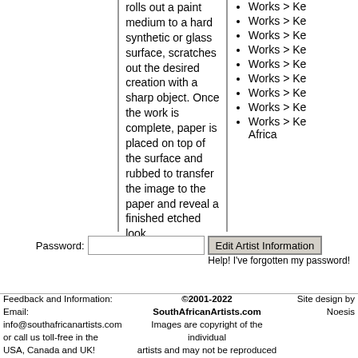rolls out a paint medium to a hard synthetic or glass surface, scratches out the desired creation with a sharp object. Once the work is complete, paper is placed on top of the surface and rubbed to transfer the image to the paper and reveal a finished etched look.
Works > Ke
Works > Ke
Works > Ke
Works > Ke
Works > Ke
Works > Ke
Works > Ke
Works > Ke
Works > Ke Africa
Password:
Edit Artist Information
Help! I've forgotten my password!
Feedback and Information: Email: info@southafricanartists.com or call us toll-free in the USA, Canada and UK!
©2001-2022 SouthAfricanArtists.com Images are copyright of the individual artists and may not be reproduced without permission Page updated: 08/26/2022 11:09:21 Site Map | Contact Us
Site design by Noesis